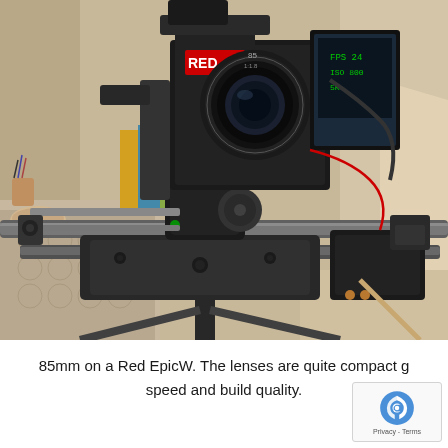[Figure (photo): A professional cinema camera (Red EpicW) mounted on a slider rig with an 85mm lens, supported on a tripod. The setup is photographed indoors with books and a patterned tablecloth visible in the background.]
85mm on a Red EpicW. The lenses are quite compact g speed and build quality.